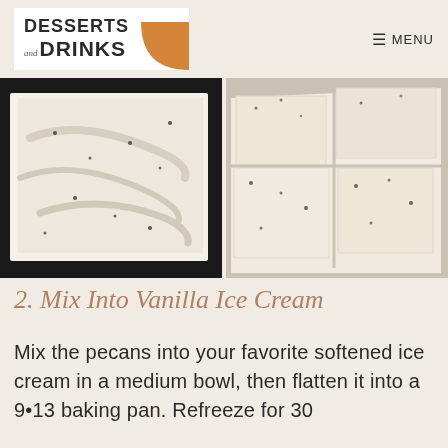DESSERTS and DRINKS | MENU
[Figure (photo): Two food photos side by side: left shows ice cream mixture spread flat in a dark baking pan lined with parchment; right shows the frozen dessert cut into squares on parchment paper.]
2. Mix Into Vanilla Ice Cream
Mix the pecans into your favorite softened ice cream in a medium bowl, then flatten it into a 9•13 baking pan. Refreeze for 30